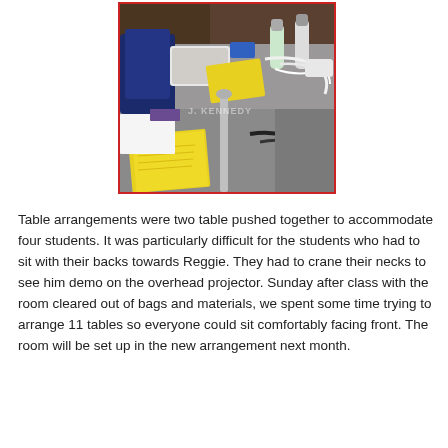[Figure (photo): Overhead view of classroom tables pushed together with yellow papers, cables, electronic equipment including a white device, water bottles, and other materials scattered on gray table surfaces. A watermark reads 'J. KENNEDY'.]
Table arrangements were two table pushed together to accommodate four students. It was particularly difficult for the students who had to sit with their backs towards Reggie. They had to crane their necks to see him demo on the overhead projector. Sunday after class with the room cleared out of bags and materials, we spent some time trying to arrange 11 tables so everyone could sit comfortably facing front. The room will be set up in the new arrangement next month.